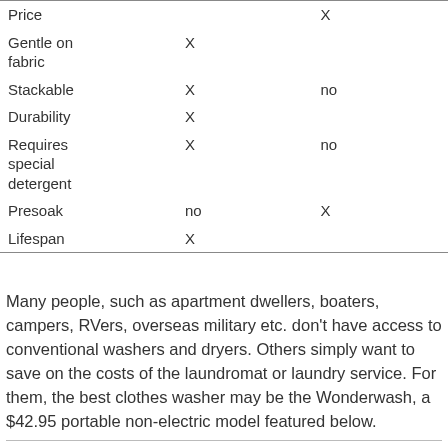| Price |  | X |
| Gentle on fabric | X |  |
| Stackable | X | no |
| Durability | X |  |
| Requires special detergent | X | no |
| Presoak | no | X |
| Lifespan | X |  |
Many people, such as apartment dwellers, boaters, campers, RVers, overseas military etc. don't have access to conventional washers and dryers. Others simply want to save on the costs of the laundromat or laundry service. For them, the best clothes washer may be the Wonderwash, a $42.95 portable non-electric model featured below.